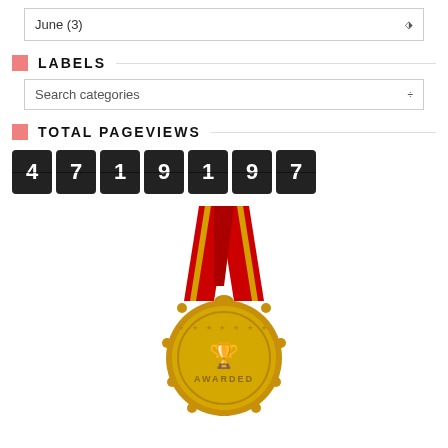June (3)
LABELS
Search categories
TOTAL PAGEVIEWS
4719197
[Figure (illustration): A gold award medal with red and gold ribbon in a V-shape at the top, and the word AWARDED visible on the gold medallion coin.]